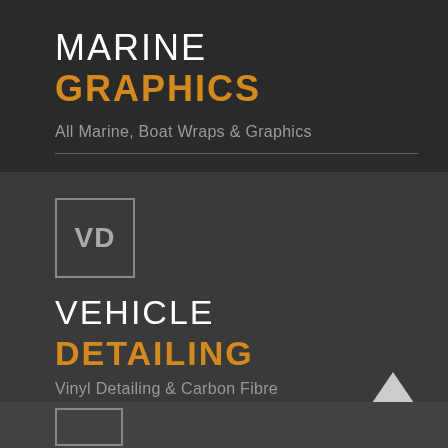MARINE GRAPHICS
All Marine, Boat Wraps & Graphics
[Figure (logo): VD logo box for Vehicle Detailing]
VEHICLE DETAILING
Vinyl Detailing & Carbon Fibre
[Figure (illustration): Chevron/up arrow icon]
[Figure (logo): Partial logo box at bottom]